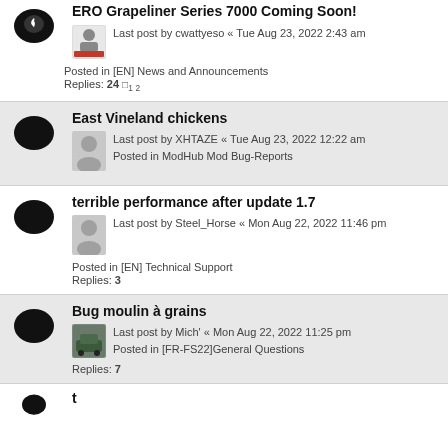ERO Grapeliner Series 7000 Coming Soon! — Last post by cwattyeso « Tue Aug 23, 2022 2:43 am — Posted in [EN] News and Announcements — Replies: 24 (pages 1 2)
East Vineland chickens — Last post by XHTAZE « Tue Aug 23, 2022 12:22 am — Posted in ModHub Mod Bug-Reports
terrible performance after update 1.7 — Last post by Steel_Horse « Mon Aug 22, 2022 11:46 pm — Posted in [EN] Technical Support — Replies: 3
Bug moulin à grains — Last post by Mich' « Mon Aug 22, 2022 11:25 pm — Posted in [FR-FS22]General Questions — Replies: 7